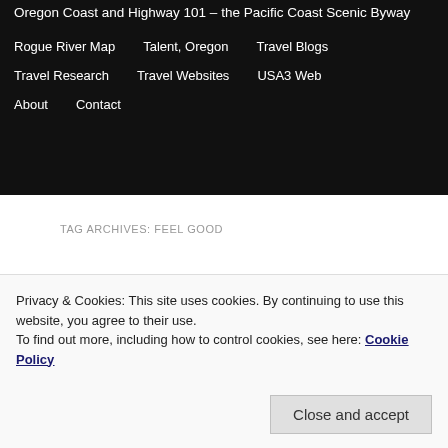Oregon Coast and Highway 101 – the Pacific Coast Scenic Byway
Rogue River Map
Talent, Oregon
Travel Blogs
Travel Research
Travel Websites
USA3 Web
About
Contact
TAG ARCHIVES: FEEL GOOD
Feeling Good vs Doing
Privacy & Cookies: This site uses cookies. By continuing to use this website, you agree to their use.
To find out more, including how to control cookies, see here: Cookie Policy
Close and accept